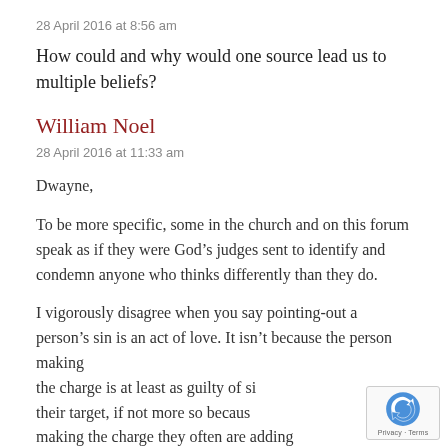28 April 2016 at 8:56 am
How could and why would one source lead us to multiple beliefs?
William Noel
28 April 2016 at 11:33 am
Dwayne,
To be more specific, some in the church and on this forum speak as if they were God’s judges sent to identify and condemn anyone who thinks differently than they do.
I vigorously disagree when you say pointing-out a person’s sin is an act of love. It isn’t because the person making the charge is at least as guilty of sin as their target, if not more so because in making the charge they often are adding